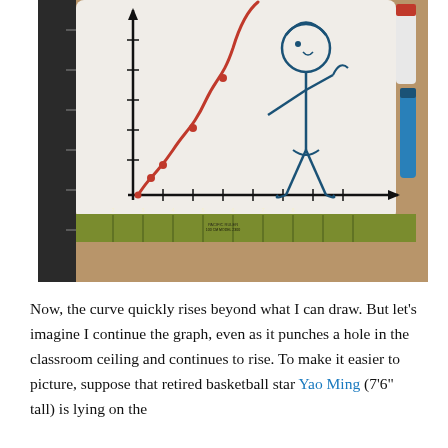[Figure (photo): A photograph of a whiteboard propped on a wooden surface with a green ruler leaning against the bottom. On the whiteboard is a hand-drawn coordinate system with a red exponential curve rising steeply. A blue pen-drawn stick figure stands to the right of the curve. Markers and a ruler are visible to the right of the whiteboard. A dark ruler is visible along the left edge.]
Now, the curve quickly rises beyond what I can draw. But let’s imagine I continue the graph, even as it punches a hole in the classroom ceiling and continues to rise. To make it easier to picture, suppose that retired basketball star Yao Ming (7’6” tall) is lying on the